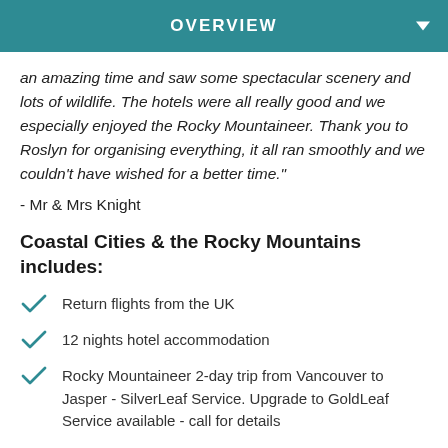OVERVIEW
an amazing time and saw some spectacular scenery and lots of wildlife. The hotels were all really good and we especially enjoyed the Rocky Mountaineer. Thank you to Roslyn for organising everything, it all ran smoothly and we couldn't have wished for a better time."
- Mr & Mrs Knight
Coastal Cities & the Rocky Mountains includes:
Return flights from the UK
12 nights hotel accommodation
Rocky Mountaineer 2-day trip from Vancouver to Jasper - SilverLeaf Service. Upgrade to GoldLeaf Service available - call for details